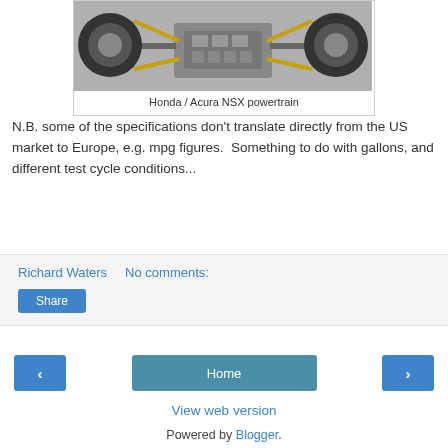[Figure (photo): Overhead view of Honda / Acura NSX powertrain showing engine, drivetrain components and tires]
Honda / Acura NSX powertrain
N.B. some of the specifications don't translate directly from the US market to Europe, e.g. mpg figures.  Something to do with gallons, and different test cycle conditions...
Richard Waters    No comments:
Share
Home
View web version
Powered by Blogger.